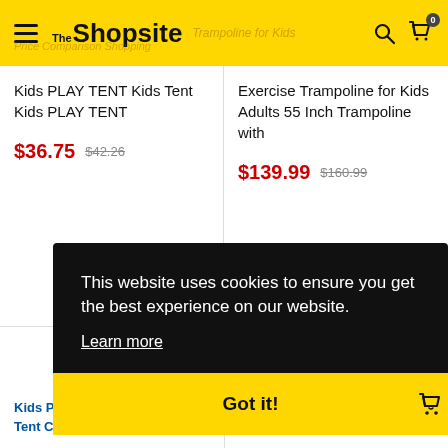TheShopsite
Kids PLAY TENT Kids Tent Kids PLAY TENT
$36.75  $42.26
Exercise Trampoline for Kids Adults 55 Inch Trampoline with
$139.99  $160.99
This website uses cookies to ensure you get the best experience on our website. Learn more
Got it!
Kids Play Tent 3PC Kids Play Tent Crawl Tunnel And Ball P...
Bucket Toddler Swing Seat